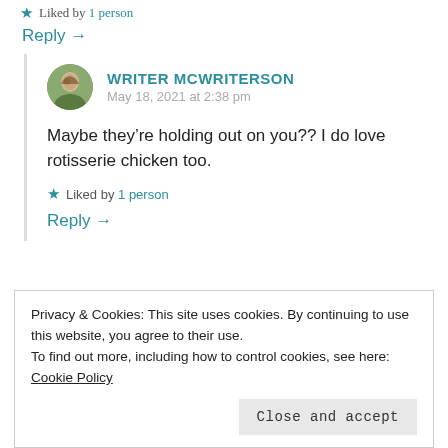★ Liked by 1 person
Reply →
WRITER MCWRITERSON
May 18, 2021 at 2:38 pm
Maybe they're holding out on you?? I do love rotisserie chicken too.
★ Liked by 1 person
Reply →
Privacy & Cookies: This site uses cookies. By continuing to use this website, you agree to their use.
To find out more, including how to control cookies, see here: Cookie Policy
Close and accept